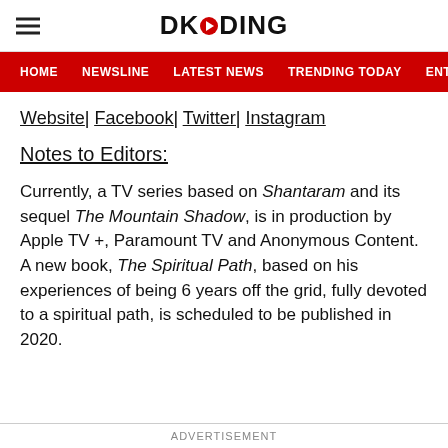DKODING
HOME | NEWSLINE | LATEST NEWS | TRENDING TODAY | ENT
Website| Facebook| Twitter| Instagram
Notes to Editors:
Currently, a TV series based on Shantaram and its sequel The Mountain Shadow, is in production by Apple TV +, Paramount TV and Anonymous Content. A new book, The Spiritual Path, based on his experiences of being 6 years off the grid, fully devoted to a spiritual path, is scheduled to be published in 2020.
ADVERTISEMENT